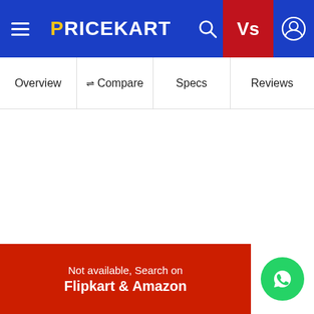PRICEKART — Navigation bar with hamburger menu, logo, search, Vs button, user icon
Overview | Compare | Specs | Reviews
Not available, Search on Flipkart & Amazon